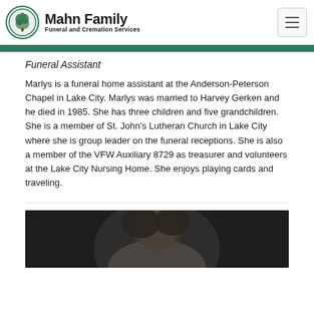Mahn Family Funeral and Cremation Services
Funeral Assistant
Marlys is a funeral home assistant at the Anderson-Peterson Chapel in Lake City. Marlys was married to Harvey Gerken and he died in 1985. She has three children and five grandchildren. She is a member of St. John's Lutheran Church in Lake City where she is group leader on the funeral receptions. She is also a member of the VFW Auxiliary 8729 as treasurer and volunteers at the Lake City Nursing Home. She enjoys playing cards and traveling.
[Figure (photo): Portrait photo of a person, partially visible at the bottom of the page, dark background]